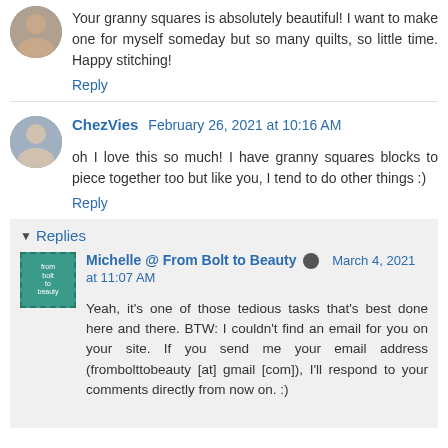Your granny squares is absolutely beautiful! I want to make one for myself someday but so many quilts, so little time. Happy stitching!
Reply
ChezVies February 26, 2021 at 10:16 AM
oh I love this so much! I have granny squares blocks to piece together too but like you, I tend to do other things :)
Reply
Replies
Michelle @ From Bolt to Beauty March 4, 2021 at 11:07 AM
Yeah, it's one of those tedious tasks that's best done here and there. BTW: I couldn't find an email for you on your site. If you send me your email address (frombolttobeauty [at] gmail [com]), I'll respond to your comments directly from now on. :)